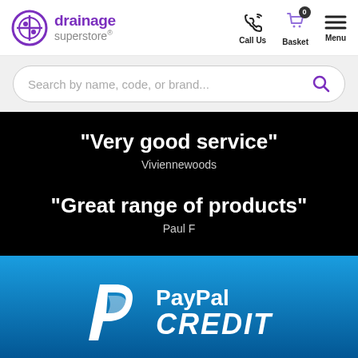[Figure (logo): Drainage Superstore logo with purple circle icon and brand name]
[Figure (infographic): Navigation icons: Call Us (phone), Basket (cart with 0 badge), Menu (hamburger)]
Search by name, code, or brand...
"Very good service"
Viviennewoods
"Great range of products"
Paul F
[Figure (logo): PayPal Credit logo on blue gradient background]